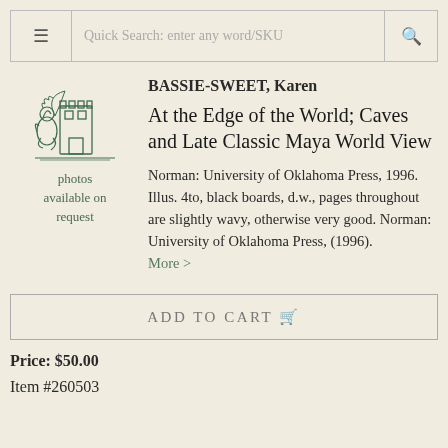≡  Quick Search: enter any word/SKU  🔍
[Figure (logo): Decorative illustrated logo of a seated figure with a ship/castle, in dark green ink, used as a bookseller's emblem]
photos available on request
BASSIE-SWEET, Karen
At the Edge of the World; Caves and Late Classic Maya World View
Norman: University of Oklahoma Press, 1996. Illus. 4to, black boards, d.w., pages throughout are slightly wavy, otherwise very good. Norman: University of Oklahoma Press, (1996). More >
ADD TO CART 🛒
Price: $50.00
Item #260503